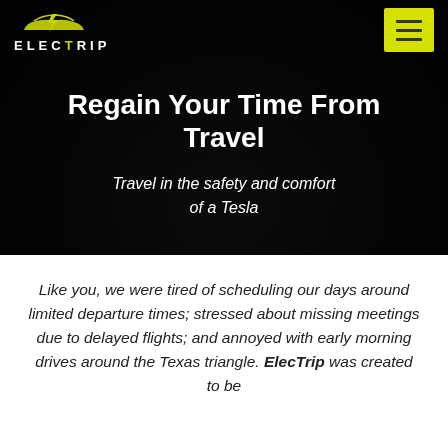[Figure (screenshot): ElecTrip website hero section with dark background showing a car silhouette, ElecTrip logo with yellow lightning bolt car icon top left, yellow hamburger menu button top right]
Regain Your Time From Travel
Travel in the safety and comfort of a Tesla
Like you, we were tired of scheduling our days around limited departure times; stressed about missing meetings due to delayed flights; and annoyed with early morning drives around the Texas triangle. ElecTrip was created to be